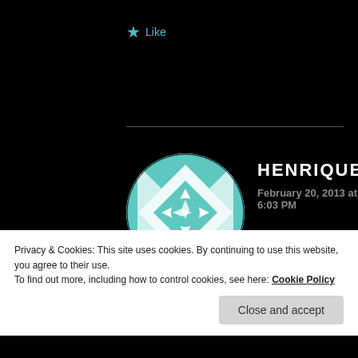★ Like
[Figure (illustration): Circular avatar with teal and white geometric quilt/kaleidoscope pattern]
HENRIQUE
February 20, 2013 at 6:03 PM
You talk so much about a game you do not like...
★ Like
Privacy & Cookies: This site uses cookies. By continuing to use this website, you agree to their use.
To find out more, including how to control cookies, see here: Cookie Policy
Close and accept